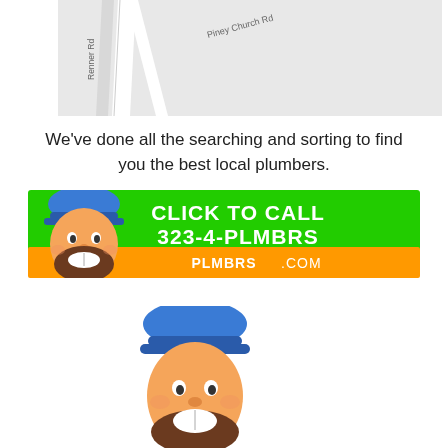[Figure (map): Map showing Piney Church Rd and Renner Rd roads on a light gray background]
We’ve done all the searching and sorting to find you the best local plumbers.
[Figure (infographic): Click to call advertisement banner with green background, cartoon plumber face, text CLICK TO CALL 323-4-PLMBRS and orange PLMBRS.COM strip]
[Figure (illustration): Cartoon plumber face/character (partial, bottom of page)]